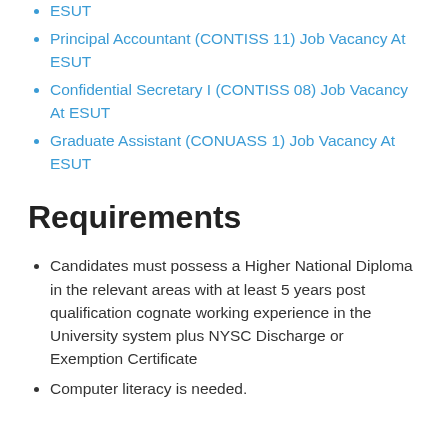ESUT
Principal Accountant (CONTISS 11) Job Vacancy At ESUT
Confidential Secretary I (CONTISS 08) Job Vacancy At ESUT
Graduate Assistant (CONUASS 1) Job Vacancy At ESUT
Requirements
Candidates must possess a Higher National Diploma in the relevant areas with at least 5 years post qualification cognate working experience in the University system plus NYSC Discharge or Exemption Certificate
Computer literacy is needed.